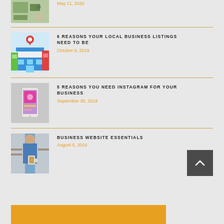[Figure (photo): Thumbnail of desk with notebook and phone, partially visible at top]
May 11, 2020
[Figure (illustration): Illustration of a local business storefront with location pin]
6 REASONS YOUR LOCAL BUSINESS LISTINGS NEED TO BE
October 6, 2019
[Figure (photo): Photo of a phone showing Instagram]
5 REASONS YOU NEED INSTAGRAM FOR YOUR BUSINESS
September 30, 2018
[Figure (photo): Photo of a person holding a coffee cup]
BUSINESS WEBSITE ESSENTIALS
August 5, 2018